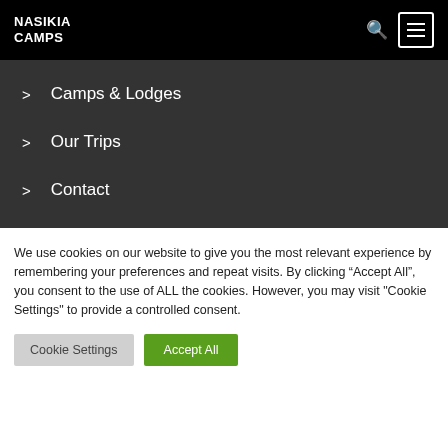NASIKIA CAMPS
Camps & Lodges
Our Trips
Contact
We use cookies on our website to give you the most relevant experience by remembering your preferences and repeat visits. By clicking “Accept All”, you consent to the use of ALL the cookies. However, you may visit "Cookie Settings" to provide a controlled consent.
Cookie Settings | Accept All